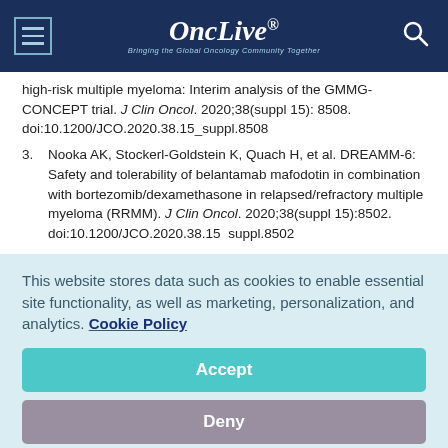OncLive® — Bringing the Global Oncology Community Together
high-risk multiple myeloma: Interim analysis of the GMMG-CONCEPT trial. J Clin Oncol. 2020;38(suppl 15): 8508. doi:10.1200/JCO.2020.38.15_suppl.8508
3. Nooka AK, Stockerl-Goldstein K, Quach H, et al. DREAMM-6: Safety and tolerability of belantamab mafodotin in combination with bortezomib/dexamethasone in relapsed/refractory multiple myeloma (RRMM). J Clin Oncol. 2020;38(suppl 15):8502. doi:10.1200/JCO.2020.38.15  suppl.8502
This website stores data such as cookies to enable essential site functionality, as well as marketing, personalization, and analytics. Cookie Policy
Accept
Deny